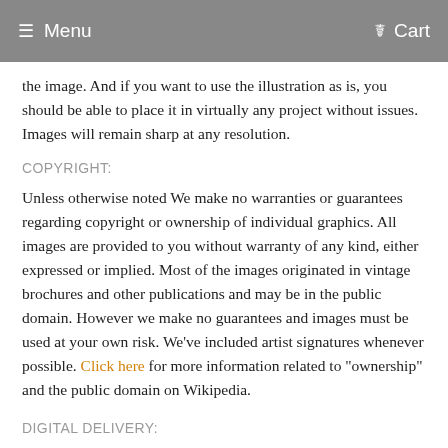Menu   Cart
the image. And if you want to use the illustration as is, you should be able to place it in virtually any project without issues. Images will remain sharp at any resolution.
COPYRIGHT:
Unless otherwise noted We make no warranties or guarantees regarding copyright or ownership of individual graphics. All images are provided to you without warranty of any kind, either expressed or implied. Most of the images originated in vintage brochures and other publications and may be in the public domain. However we make no guarantees and images must be used at your own risk. We've included artist signatures whenever possible. Click here for more information related to "ownership" and the public domain on Wikipedia.
DIGITAL DELIVERY: